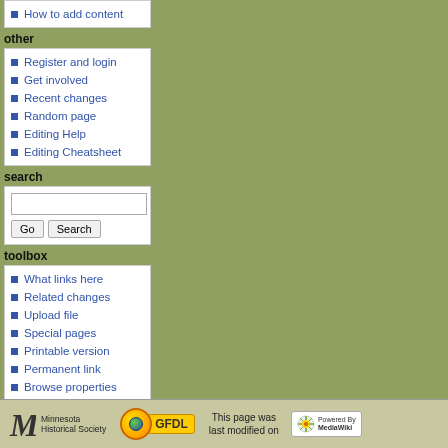How to add content
other
Register and login
Get involved
Recent changes
Random page
Editing Help
Editing Cheatsheet
search
toolbox
What links here
Related changes
Upload file
Special pages
Printable version
Permanent link
Browse properties
Minnesota Historical Society | GFDL | This page was last modified on | Powered By MediaWiki